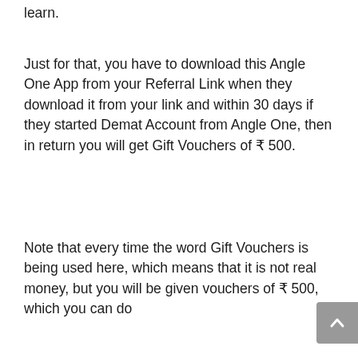learn.
Just for that, you have to download this Angle One App from your Referral Link when they download it from your link and within 30 days if they started Demat Account from Angle One, then in return you will get Gift Vouchers of ₹ 500.
Note that every time the word Gift Vouchers is being used here, which means that it is not real money, but you will be given vouchers of ₹ 500, which you can do